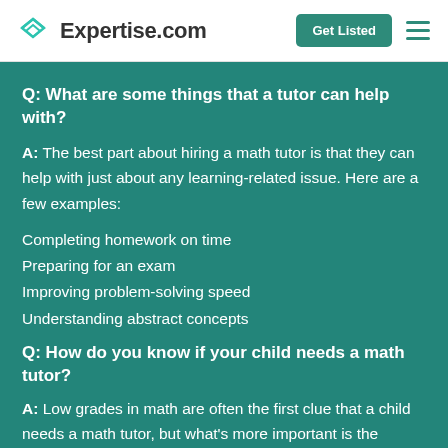Expertise.com | Get Listed
Q: What are some things that a tutor can help with?
A: The best part about hiring a math tutor is that they can help with just about any learning-related issue. Here are a few examples:
Completing homework on time
Preparing for an exam
Improving problem-solving speed
Understanding abstract concepts
Q: How do you know if your child needs a math tutor?
A: Low grades in math are often the first clue that a child needs a math tutor, but what's more important is the reason